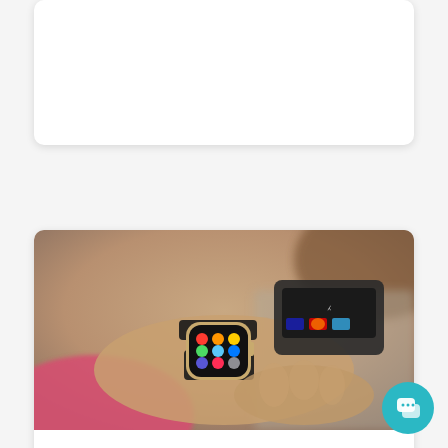[Figure (other): Partial white card element at top of page, appears to be a cropped article card]
[Figure (photo): Person using Apple Watch to make a contactless NFC payment at a card reader terminal. The smartwatch screen shows colorful app icons. Background is blurred.]
3 Benefits of Near Field Communication (NFC)
by International Bancard | Nov 3, 2020